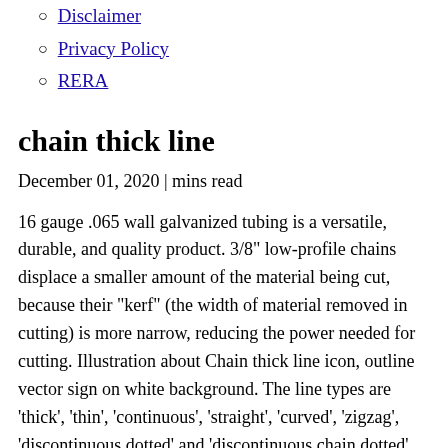Disclaimer
Privacy Policy
RERA
chain thick line
December 01, 2020 | mins read
16 gauge .065 wall galvanized tubing is a versatile, durable, and quality product. 3/8" low-profile chains displace a smaller amount of the material being cut, because their "kerf" (the width of material removed in cutting) is more narrow, reducing the power needed for cutting. Illustration about Chain thick line icon, outline vector sign on white background. The line types are 'thick', 'thin', 'continuous', 'straight', 'curved', 'zigzag', 'discontinuous dotted' and 'discontinuous chain dotted'. Selecting a region may change the language and promotional content you see on the Adobe Stock web site. In embroidery, thick stems and branches often get the same treatment: filled with stem stitch, filled with chain stitch,